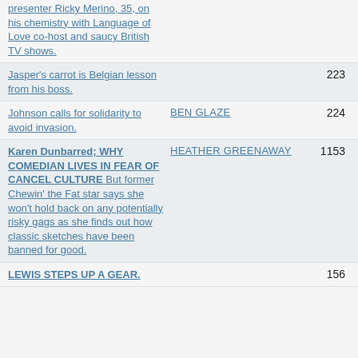presenter Ricky Merino, 35, on his chemistry with Language of Love co-host and saucy British TV shows.
Jasper's carrot is Belgian lesson from his boss.
Johnson calls for solidarity to avoid invasion.
Karen Dunbarred; WHY COMEDIAN LIVES IN FEAR OF CANCEL CULTURE But former Chewin' the Fat star says she won't hold back on any potentially risky gags as she finds out how classic sketches have been banned for good.
LEWIS STEPS UP A GEAR.